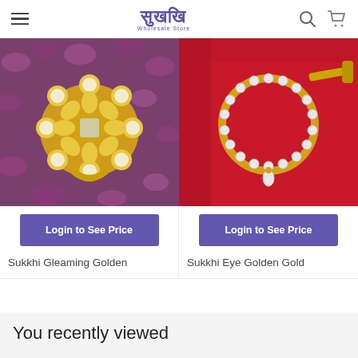Sukkhi Wholesale Store
[Figure (photo): Gold kundan floral ring with pearl-set border on purple gemstone background]
Login to See Price
Sukkhi Gleaming Golden
[Figure (photo): Gold circular nose ring with white stones and droplet pendant on red velvet background]
Login to See Price
Sukkhi Eye Golden Gold
You recently viewed